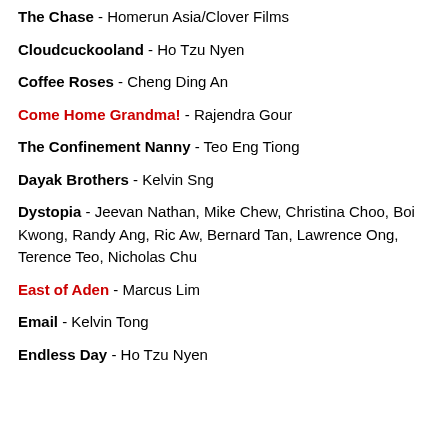The Chase - Homerun Asia/Clover Films
Cloudcuckooland - Ho Tzu Nyen
Coffee Roses - Cheng Ding An
Come Home Grandma! - Rajendra Gour
The Confinement Nanny - Teo Eng Tiong
Dayak Brothers - Kelvin Sng
Dystopia - Jeevan Nathan, Mike Chew, Christina Choo, Boi Kwong, Randy Ang, Ric Aw, Bernard Tan, Lawrence Ong, Terence Teo, Nicholas Chu
East of Aden - Marcus Lim
Email - Kelvin Tong
Endless Day - Ho Tzu Nyen